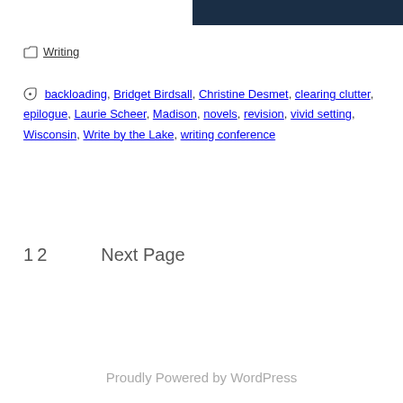[Figure (other): Dark navy blue rectangular banner/header image cropped at top of page]
Writing
backloading, Bridget Birdsall, Christine Desmet, clearing clutter, epilogue, Laurie Scheer, Madison, novels, revision, vivid setting, Wisconsin, Write by the Lake, writing conference
1 2   Next Page
Proudly Powered by WordPress